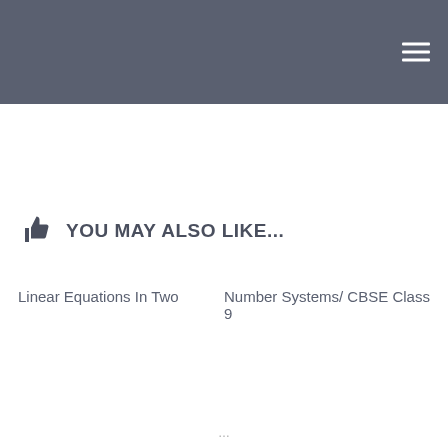YOU MAY ALSO LIKE...
Linear Equations In Two
Number Systems/ CBSE Class 9